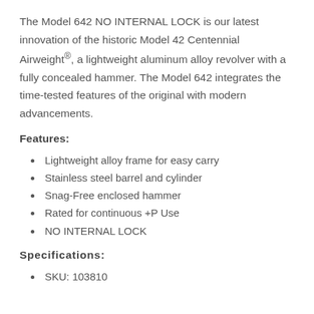The Model 642 NO INTERNAL LOCK is our latest innovation of the historic Model 42 Centennial Airweight®, a lightweight aluminum alloy revolver with a fully concealed hammer. The Model 642 integrates the time-tested features of the original with modern advancements.
Features:
Lightweight alloy frame for easy carry
Stainless steel barrel and cylinder
Snag-Free enclosed hammer
Rated for continuous +P Use
NO INTERNAL LOCK
Specifications:
SKU: 103810